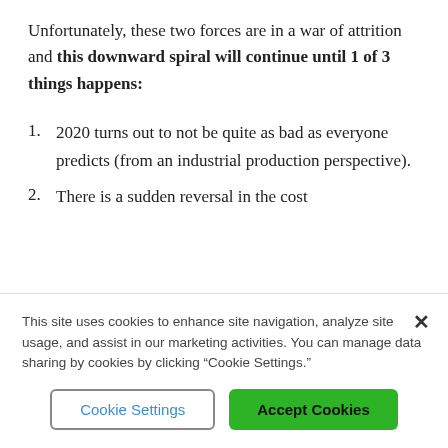Unfortunately, these two forces are in a war of attrition and this downward spiral will continue until 1 of 3 things happens:
1. 2020 turns out to not be quite as bad as everyone predicts (from an industrial production perspective).
2. There is a sudden reversal in the cost
This site uses cookies to enhance site navigation, analyze site usage, and assist in our marketing activities. You can manage data sharing by cookies by clicking “Cookie Settings.”